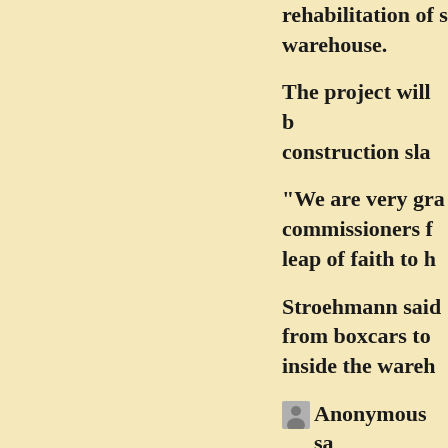rehabilitation of s... warehouse.
The project will b... construction sla...
“We are very gra... commissioners f... leap of faith to h...
Stroehmann said... from boxcars to ... inside the wareh...
Anonymous sa...
I can't believe ... Moran Industr...